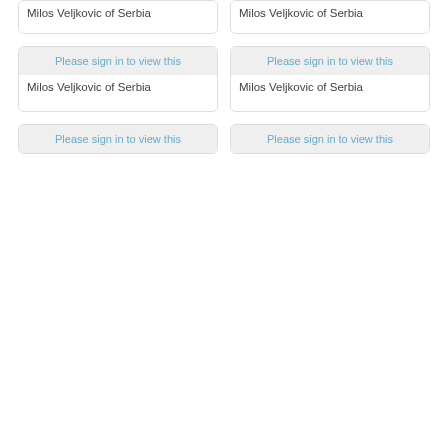[Figure (screenshot): Card with grey image area (partially visible at top, cut off) and label 'Milos Veljkovic of Serbia']
Milos Veljkovic of Serbia
[Figure (screenshot): Card with grey image area (partially visible at top, cut off) and label 'Milos Veljkovic of Serbia']
Milos Veljkovic of Serbia
[Figure (screenshot): Card with grey image area showing 'Please sign in to view this' and label 'Milos Veljkovic of Serbia']
Milos Veljkovic of Serbia
[Figure (screenshot): Card with grey image area showing 'Please sign in to view this' and label 'Milos Veljkovic of Serbia']
Milos Veljkovic of Serbia
[Figure (screenshot): Card with grey image area showing 'Please sign in to view this' (partially visible at bottom, cut off)]
[Figure (screenshot): Card with grey image area showing 'Please sign in to view this' (partially visible at bottom, cut off)]